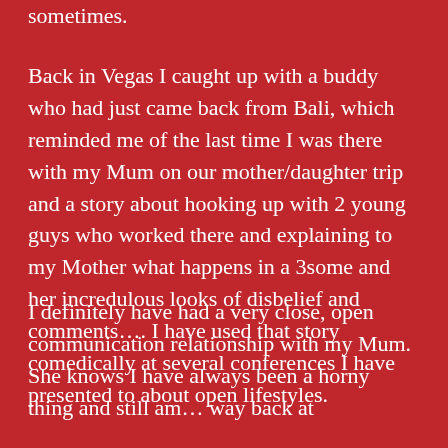sometimes.
Back in Vegas I caught up with a buddy who had just came back from Bali, which reminded me of the last time I was there with my Mum on our mother/daughter trip and a story about hooking up with 2 young guys who worked there and explaining to my Mother what happens in a 3some and her incredulous looks of disbelief and comments…. I have used that story comedically at several conferences I have presented to about open lifestyles.
I definitely have had a very close, open communication relationship with my Mum. She knows I have always been a horny thing and still am… way back at